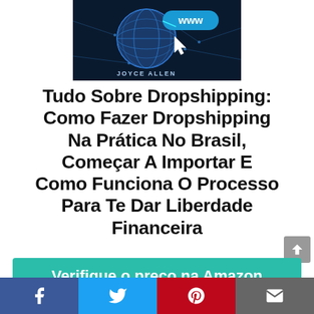[Figure (illustration): Book cover for a Portuguese dropshipping book by Joyce Allen. Dark blue background with a globe showing www, a cursor arrow, and network lines. Author name JOYCE ALLEN at bottom.]
Tudo Sobre Dropshipping: Como Fazer Dropshipping Na Prática No Brasil, Começar A Importar E Como Funciona O Processo Para Te Dar Liberdade Financeira
Verifique o preço na Amazon